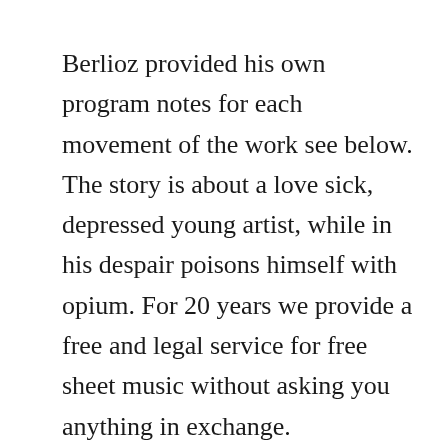Berlioz provided his own program notes for each movement of the work see below. The story is about a love sick, depressed young artist, while in his despair poisons himself with opium. For 20 years we provide a free and legal service for free sheet music without asking you anything in exchange.

The program notes read, the artist, knowing beyond all doubt that. Berlioz provided a program for symphonie fantastique that describes each movement in great detail. Berliozs greatest interpreter of modern times